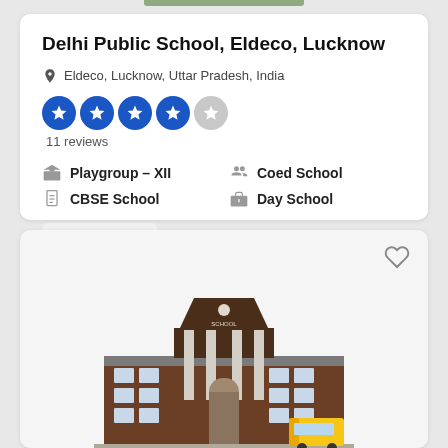Delhi Public School, Eldeco, Lucknow
Eldeco, Lucknow, Uttar Pradesh, India
11 reviews
Playgroup – XII
Coed School
CBSE School
Day School
More info
[Figure (illustration): Illustration of a school building with columns, arched entrance, and a school bus in front]